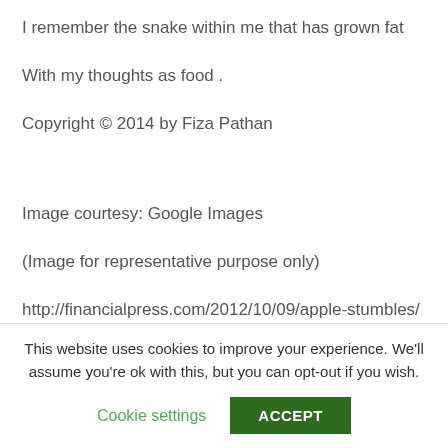I remember the snake within me that has grown fat
With my thoughts as food .
Copyright © 2014 by Fiza Pathan
Image courtesy: Google Images
(Image for representative purpose only)
http://financialpress.com/2012/10/09/apple-stumbles/
This website uses cookies to improve your experience. We'll assume you're ok with this, but you can opt-out if you wish.
Cookie settings
ACCEPT